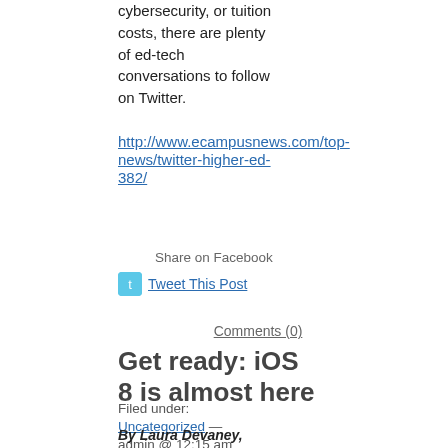cybersecurity, or tuition costs, there are plenty of ed-tech conversations to follow on Twitter.
http://www.ecampusnews.com/top-news/twitter-higher-ed-382/
Share on Facebook
Tweet This Post
Comments (0)
Get ready: iOS 8 is almost here
Filed under: Uncategorized — admin @ 12:15 am
By Laura Devaney,
eSchool News